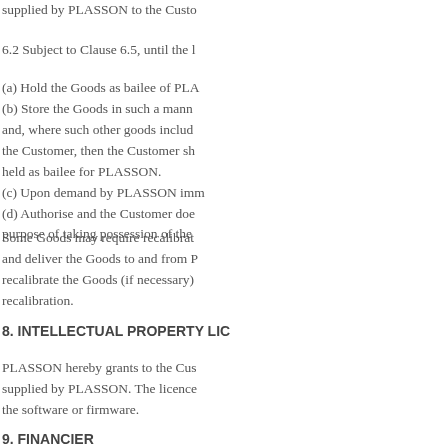supplied by PLASSON to the Custo
6.2 Subject to Clause 6.5, until the l
(a) Hold the Goods as bailee of PLA
(b) Store the Goods in such a mann and, where such other goods includ the Customer, then the Customer sh held as bailee for PLASSON.
(c) Upon demand by PLASSON imm
(d) Authorise and the Customer doe purpose of taking possession of the
Some Goods may require recalibrat and deliver the Goods to and from P recalibrate the Goods (if necessary) recalibration.
8. INTELLECTUAL PROPERTY LIC
PLASSON hereby grants to the Cus supplied by PLASSON. The licence the software or firmware.
9. FINANCIER
9.1 If Plasson sells the Goods to a t licence referred to in Clause 10 to th
9.2 The Customer represents and w